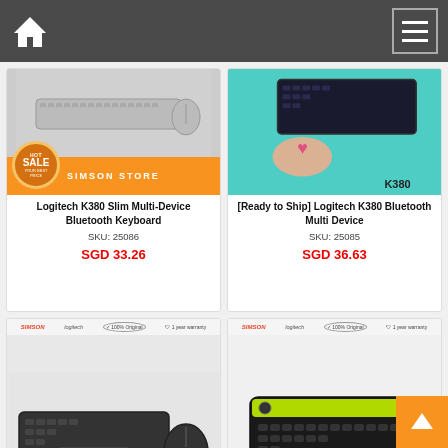[Figure (screenshot): Navigation bar with home icon and hamburger menu on dark background]
[Figure (screenshot): Product card for Logitech K380 Slim Multi-Device Bluetooth Keyboard showing keyboard image, Hot Sale badge, Simson Store label, SKU 25086, price SGD 33.26]
[Figure (screenshot): Product card for [Ready to Ship] Logitech K380 Bluetooth Multi Device showing teal product image with K380 label, SKU 25085, price SGD 36.63]
[Figure (screenshot): Product card for Logitech K580 Wireless keyboard with mouse image, Simson Store branding, logos row]
[Figure (screenshot): Product card for Logitech K480 Bluetooth keyboard image, Simson Store branding, logos row]